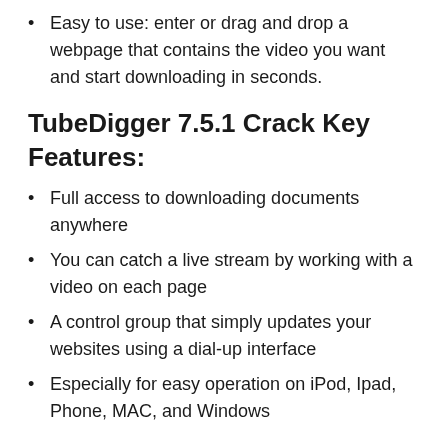Easy to use: enter or drag and drop a webpage that contains the video you want and start downloading in seconds.
TubeDigger 7.5.1 Crack Key Features:
Full access to downloading documents anywhere
You can catch a live stream by working with a video on each page
A control group that simply updates your websites using a dial-up interface
Especially for easy operation on iPod, Ipad, Phone, MAC, and Windows